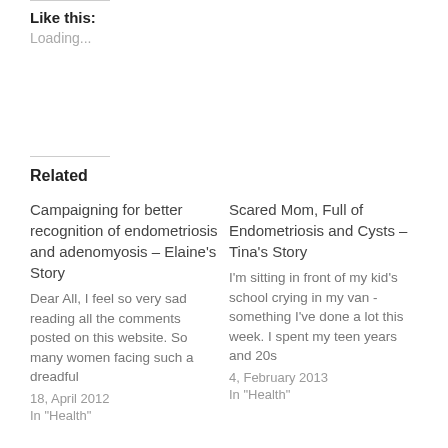Like this:
Loading...
Related
Campaigning for better recognition of endometriosis and adenomyosis – Elaine's Story
Dear All, I feel so very sad reading all the comments posted on this website. So many women facing such a dreadful
18, April 2012
In "Health"
Scared Mom, Full of Endometriosis and Cysts – Tina's Story
I'm sitting in front of my kid's school crying in my van - something I've done a lot this week. I spent my teen years and 20s
4, February 2013
In "Health"